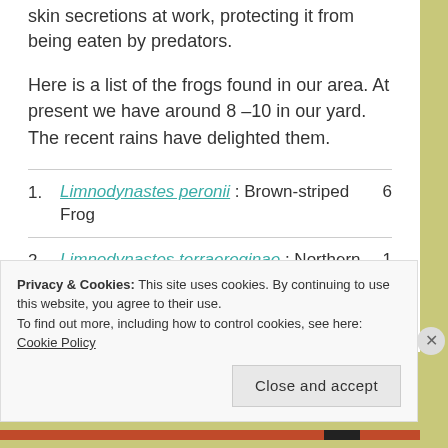skin secretions at work, protecting it from being eaten by predators.
Here is a list of the frogs found in our area. At present we have around 8 –10 in our yard. The recent rains have delighted them.
Limnodynastes peronii : Brown-striped Frog  6
Limnodynastes terraereginae : Northern Banjo Frog  1
Litoria caerulea : Green Tree Frog  4
Privacy & Cookies: This site uses cookies. By continuing to use this website, you agree to their use. To find out more, including how to control cookies, see here: Cookie Policy
Close and accept